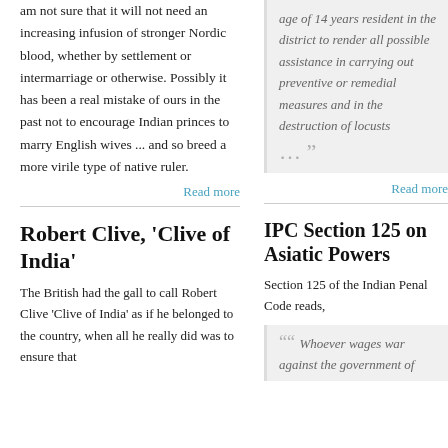am not sure that it will not need an increasing infusion of stronger Nordic blood, whether by settlement or intermarriage or otherwise. Possibly it has been a real mistake of ours in the past not to encourage Indian princes to marry English wives ... and so breed a more virile type of native ruler.
Read more
Robert Clive, 'Clive of India'
The British had the gall to call Robert Clive 'Clive of India' as if he belonged to the country, when all he really did was to ensure that
age of 14 years resident in the district to render all possible assistance in carrying out preventive or remedial measures and in the destruction of locusts … ""
Read more
IPC Section 125 on Asiatic Powers
Section 125 of the Indian Penal Code reads,
Whoever wages war against the government of